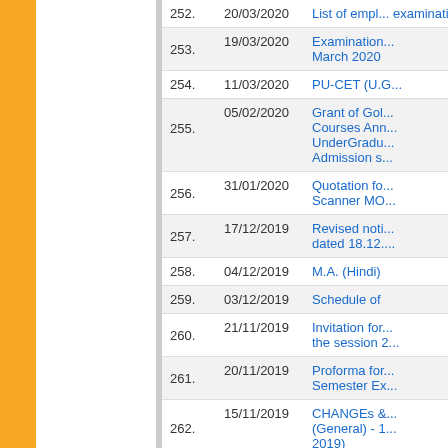| No. | Date | Title |
| --- | --- | --- |
| 252. | 20/03/2020 | List of empl... examinations... |
| 253. | 19/03/2020 | Examination... March 2020 |
| 254. | 11/03/2020 | PU-CET (U.G... |
| 255. | 05/02/2020 | Grant of Gol... Courses Ann... UnderGradu... Admission s... |
| 256. | 31/01/2020 | Quotation fo... Scanner MO... |
| 257. | 17/12/2019 | Revised noti... dated 18.12.... |
| 258. | 04/12/2019 | M.A. (Hindi) |
| 259. | 03/12/2019 | Schedule of |
| 260. | 21/11/2019 | Invitation for... the session 2... |
| 261. | 20/11/2019 | Proforma for... Semester Ex... |
| 262. | 15/11/2019 | CHANGEs &... (General) - 1... 2019) |